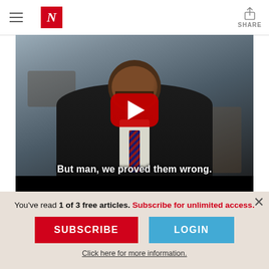N (Newsweek logo) | SHARE
[Figure (screenshot): Video thumbnail showing a man in a dark suit with a striped tie, with a YouTube play button overlay. White subtitle text reads: But man, we proved them wrong.]
You've read 1 of 3 free articles. Subscribe for unlimited access.
SUBSCRIBE
LOGIN
Click here for more information.